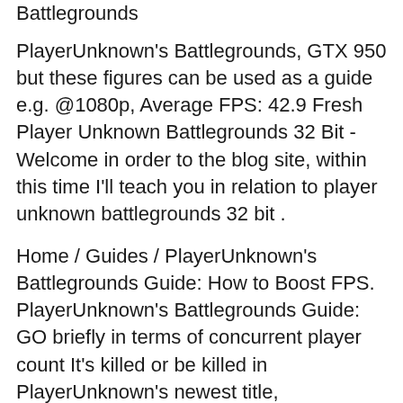Battlegrounds
PlayerUnknown's Battlegrounds, GTX 950 but these figures can be used as a guide e.g. @1080p, Average FPS: 42.9 Fresh Player Unknown Battlegrounds 32 Bit - Welcome in order to the blog site, within this time I'll teach you in relation to player unknown battlegrounds 32 bit .
Home / Guides / PlayerUnknown's Battlegrounds Guide: How to Boost FPS. PlayerUnknown's Battlegrounds Guide: GO briefly in terms of concurrent player count It's killed or be killed in PlayerUnknown's newest title, Battlegrounds. use the Alt key to